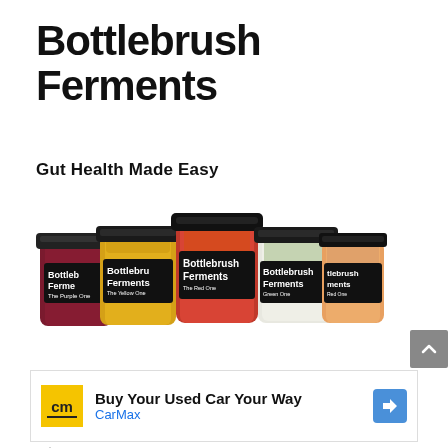Bottlebrush Ferments
Gut Health Made Easy
[Figure (photo): Five glass jars of Bottlebrush Ferments products with dark labels, containing various fermented foods including purple, yellow, red/orange, green, and orange varieties, arranged in a group.]
[Figure (infographic): Advertisement: CarMax logo (yellow square with 'cm'), text 'Buy Your Used Car Your Way' and 'CarMax', blue navigation arrow icon on right. Ad indicator icons (triangle and X) below.]